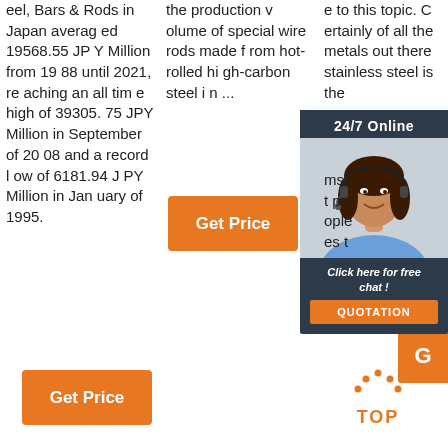eel, Bars & Rods in Japan averaged 19568.55 JPY Million from 1988 until 2021, reaching an all time high of 39305.75 JPY Million in September of 2008 and a record low of 6181.94 JPY Million in January of 1995.
the production volume of special wire rods made from hot-rolled high-carbon steel i n ...
e to this topic. Certainly of all the metals out there stainless steel is the [most prominent] people [choose] t...
[Figure (infographic): 24/7 Online chat widget with woman wearing headset, dark background, 'Click here for free chat!' text and orange QUOTATION button]
[Figure (other): Orange Get Price button in the middle column]
[Figure (other): Orange Get Price button at the bottom left]
[Figure (other): Partially visible orange G button on the right side]
[Figure (logo): Orange TOP icon with dotted arc above the word TOP]